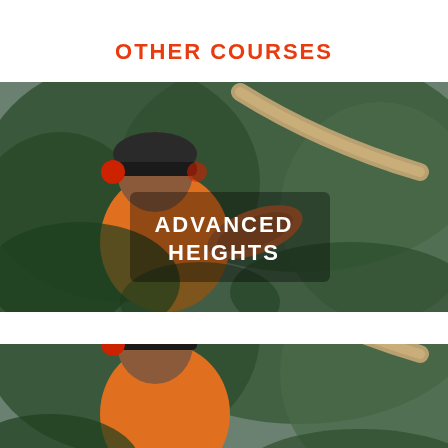OTHER COURSES
[Figure (photo): A tree worker wearing an orange high-vis shirt, safety helmet with ear muffs, working amid dense green tree foliage, holding a rope. Text overlay reads ADVANCED HEIGHTS.]
[Figure (photo): A cropped/partial repeat image of the same tree worker in orange vest and safety helmet amid green foliage — bottom portion of page.]